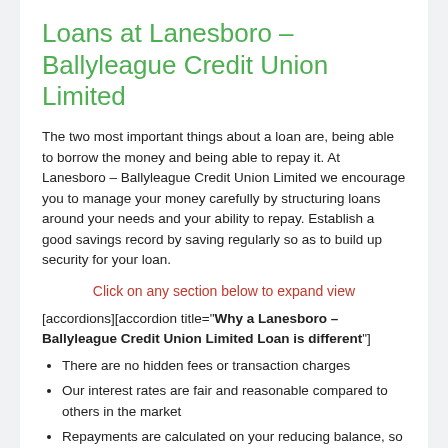Loans at Lanesboro – Ballyleague Credit Union Limited
The two most important things about a loan are, being able to borrow the money and being able to repay it. At Lanesboro – Ballyleague Credit Union Limited we encourage you to manage your money carefully by structuring loans around your needs and your ability to repay. Establish a good savings record by saving regularly so as to build up security for your loan.
Click on any section below to expand view
[accordions][accordion title="Why a Lanesboro – Ballyleague Credit Union Limited Loan is different"]
There are no hidden fees or transaction charges
Our interest rates are fair and reasonable compared to others in the market
Repayments are calculated on your reducing balance, so you pay less interest with each repayment
Your credit union loan is insured – subject to terms and conditions – at no direct cost to you. Other lenders